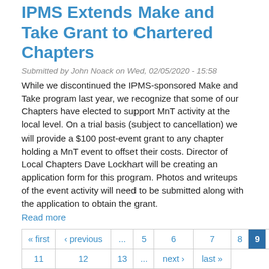IPMS Extends Make and Take Grant to Chartered Chapters
Submitted by John Noack on Wed, 02/05/2020 - 15:58
While we discontinued the IPMS-sponsored Make and Take program last year, we recognize that some of our Chapters have elected to support MnT activity at the local level. On a trial basis (subject to cancellation) we will provide a $100 post-event grant to any chapter holding a MnT event to offset their costs. Director of Local Chapters Dave Lockhart will be creating an application form for this program. Photos and writeups of the event activity will need to be submitted along with the application to obtain the grant.
Read more
| « first | ‹ previous | ... | 5 | 6 | 7 | 8 | 9 | 10 |
| 11 | 12 | 13 | ... | next › | last » |
Search News